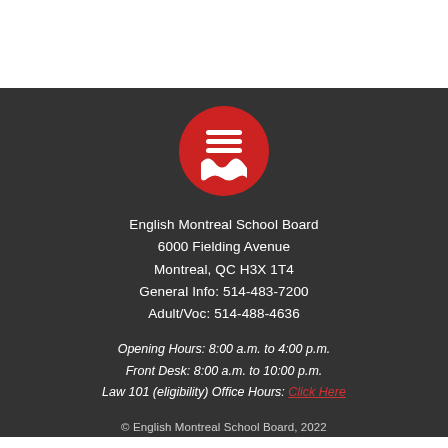[Figure (logo): English Montreal School Board circular red logo with white horizontal lines and zigzag wave pattern]
English Montreal School Board
6000 Fielding Avenue
Montreal, QC H3X 1T4
General Info: 514-483-7200
Adult/Voc: 514-488-4636
Opening Hours: 8:00 a.m. to 4:00 p.m.
Front Desk: 8:00 a.m. to 10:00 p.m.
Law 101 (eligibility) Office Hours: Click Here
© English Montreal School Board, 2022